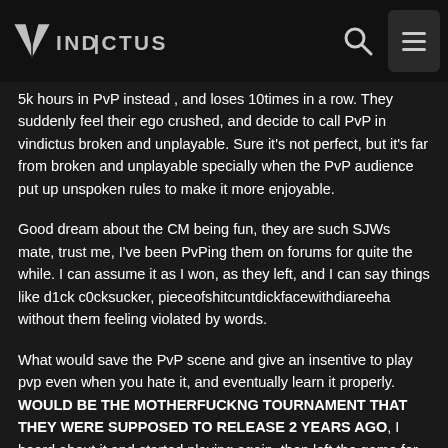Vindictus logo with search and menu icons
5k hours in PvP instead , and loses 10times in a row. They suddenly feel their ego crushed, and decide to call PvP in vindictus broken and unplayable. Sure it's not perfect, but it's far from broken and unplayable specially when the PvP audience put up unspoken rules to make it more enjoyable.
Good dream about the CM being fun, they are such SJWs mate, trust me, I've been PvPing them on forums for quite the while. I can assume it as I won, as they left, and I can say things like d1ck c0cksucker, pieceofshitcuntdickfacewithdiareeha without them feeling violated by words.
What would save the PvP scene and give an insentive to play pvp even when you hate it, and eventually learn it properly. WOULD BE THE MOTHERFUCKNG TOURNAMENT THAT THEY WERE SUPPOSED TO RELEASE 2 YEARS AGO, I heard about it and started playing again, then left the game for good when I found out it won't ever come. It even had balanced stats to make it more fair. Such a flop.... Or just make no limit on seals and make artifacts tradeable and enhanceable and get 1-10% better artifact or